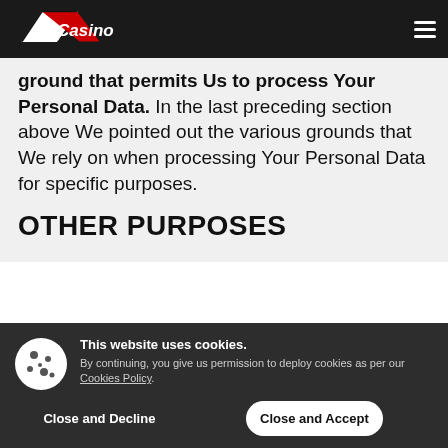Casino logo and navigation header
ground that permits Us to process Your Personal Data. In the last preceding section above We pointed out the various grounds that We rely on when processing Your Personal Data for specific purposes.
OTHER PURPOSES
This website uses cookies. By continuing, you give us permission to deploy cookies as per our Cookies Policy.
Close and Decline | Close and Accept